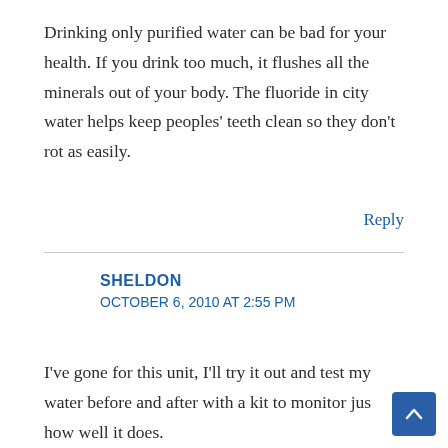Drinking only purified water can be bad for your health. If you drink too much, it flushes all the minerals out of your body. The fluoride in city water helps keep peoples' teeth clean so they don't rot as easily.
Reply
SHELDON
OCTOBER 6, 2010 AT 2:55 PM
I've gone for this unit, I'll try it out and test my water before and after with a kit to monitor just how well it does.